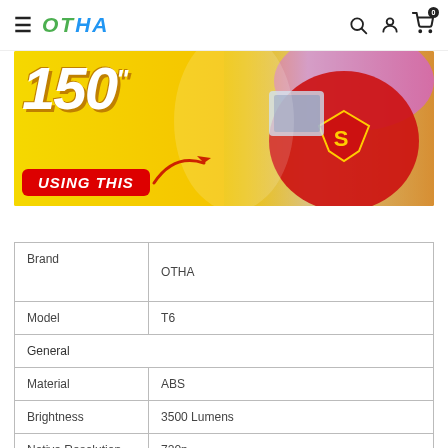OTHA — navigation bar with hamburger menu, logo, search, account, and cart (0) icons
[Figure (photo): Promotional banner showing '150 inch' text in large yellow font with 'USING THIS' in red button, arrow graphic, and person wearing a Superman t-shirt holding a device, on yellow background]
| Brand | OTHA |
| Model | T6 |
| General |  |
| Material | ABS |
| Brightness | 3500 Lumens |
| Native Resolution | 720p |